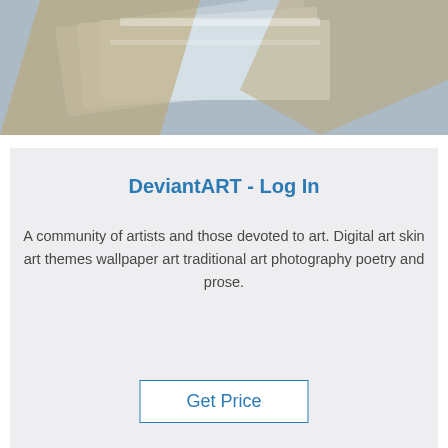[Figure (photo): Top portion of a photo showing aluminum/metal sheets wrapped in brown paper and plastic packaging, partially cropped.]
DeviantART - Log In
A community of artists and those devoted to art. Digital art skin art themes wallpaper art traditional art photography poetry and prose.
Get Price
[Figure (photo): Bottom photo showing a shiny metal/aluminum sheet partially wrapped in brown paper packaging, with a TOP watermark badge at bottom right.]